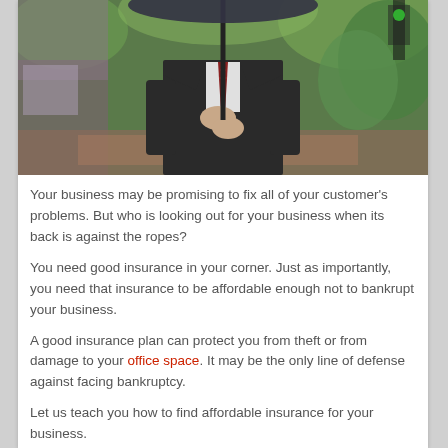[Figure (photo): A businessman in a dark suit holding an umbrella outdoors on a city street, photographed from chest/torso level with a blurred urban background.]
Your business may be promising to fix all of your customer's problems. But who is looking out for your business when its back is against the ropes?
You need good insurance in your corner. Just as importantly, you need that insurance to be affordable enough not to bankrupt your business.
A good insurance plan can protect you from theft or from damage to your office space. It may be the only line of defense against facing bankruptcy.
Let us teach you how to find affordable insurance for your business.